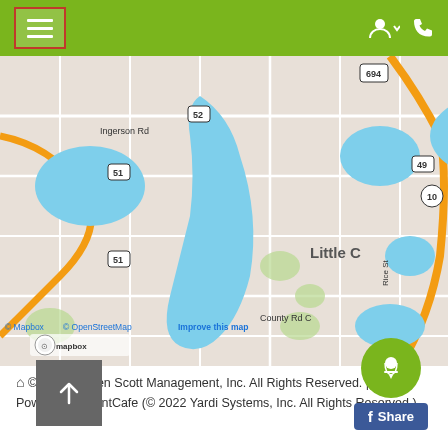Navigation bar with hamburger menu, user icon, and phone icon
[Figure (map): Mapbox / OpenStreetMap map showing a Minneapolis suburban area with lakes, roads including routes 694, 52, 51, 49, 10, Ingerson Rd, County Rd C, Rice St. Map attribution reads: © Mapbox © OpenStreetMap Improve this map]
© 2022 Steven Scott Management, Inc. All Rights Reserved. | Powered by RentCafe (© 2022 Yardi Systems, Inc. All Rights Reserved.)